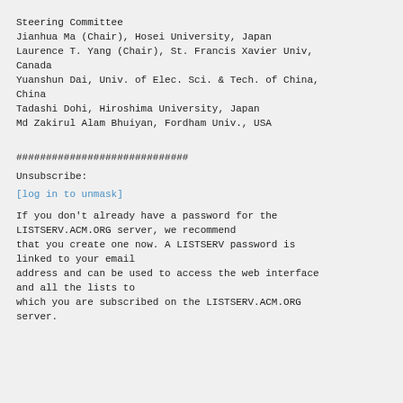Steering Committee
Jianhua Ma (Chair), Hosei University, Japan
Laurence T. Yang (Chair), St. Francis Xavier Univ, Canada
Yuanshun Dai, Univ. of Elec. Sci. & Tech. of China, China
Tadashi Dohi, Hiroshima University, Japan
Md Zakirul Alam Bhuiyan, Fordham Univ., USA
#############################
Unsubscribe:
[log in to unmask]
If you don't already have a password for the LISTSERV.ACM.ORG server, we recommend that you create one now. A LISTSERV password is linked to your email address and can be used to access the web interface and all the lists to which you are subscribed on the LISTSERV.ACM.ORG server.